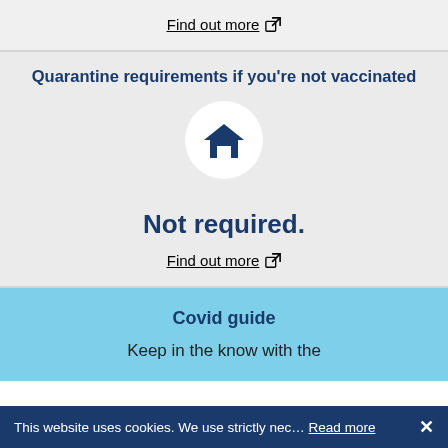Find out more [external link]
Quarantine requirements if you're not vaccinated
[Figure (illustration): House icon inside a white circle on light grey background]
Not required.
Find out more [external link]
Covid guide
Keep in the know with the
This website uses cookies. We use strictly nec… Read more ×